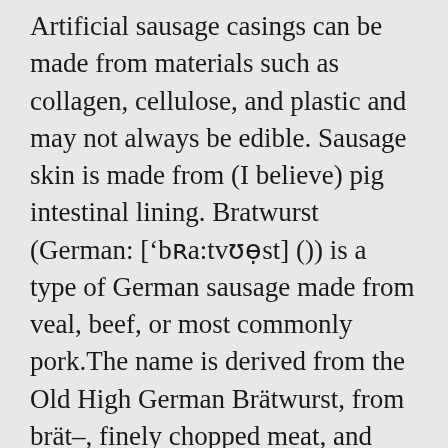Artificial sausage casings can be made from materials such as collagen, cellulose, and plastic and may not always be edible. Sausage skin is made from (I believe) pig intestinal lining. Bratwurst (German: ['bʁa:tvʊɐ̯st] ()) is a type of German sausage made from veal, beef, or most commonly pork.The name is derived from the Old High German Brätwurst, from brät-, finely chopped meat, and Wurst, sausage, although in modern German it is often associated with the verb braten, to pan fry or roast. The “skin” you see on sausage is a very thin layer of intestinal casing. Collagen Sausage Casings are synthetic and are very simple to use. Dextrose (a refined sweetener)